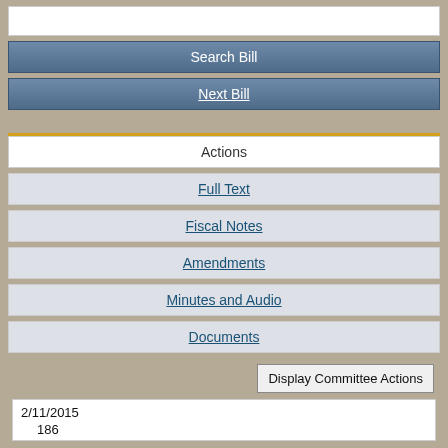[Figure (screenshot): Search bill input text box (empty, white background)]
Search Bill
Next Bill
Actions
Full Text
Fiscal Notes
Amendments
Minutes and Audio
Documents
Display Committee Actions
2/11/2015
186